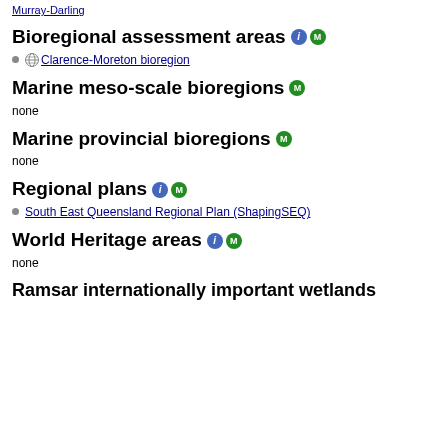Murray-Darling
Bioregional assessment areas
Clarence-Moreton bioregion
Marine meso-scale bioregions
none
Marine provincial bioregions
none
Regional plans
South East Queensland Regional Plan (ShapingSEQ)
World Heritage areas
none
Ramsar internationally important wetlands